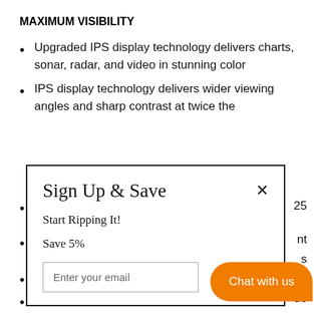MAXIMUM VISIBILITY
Upgraded IPS display technology delivers charts, sonar, radar, and video in stunning color
IPS display technology delivers wider viewing angles and sharp contrast at twice the
[partially obscured] 25
[partially obscured] nt
[partially obscured] s
[partially obscured] ols
[partially obscured] de
[Figure (screenshot): Modal dialog with title 'Sign Up & Save', close button X, text 'Start Ripping It!', 'Save 5%', and email input field 'Enter your email'. An orange 'Chat with us' button is visible at bottom right.]